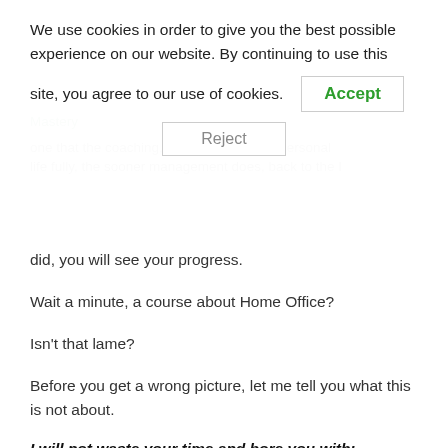[Figure (screenshot): Cookie consent banner overlay with Accept and Reject buttons on a white background, partially covering the page content behind it.]
did, you will see your progress.
Wait a minute, a course about Home Office?
Isn't that lame?
Before you get a wrong picture, let me tell you what this is not about.
I will not waste your time and bore you with:
How to handle word, excel, powerpoint